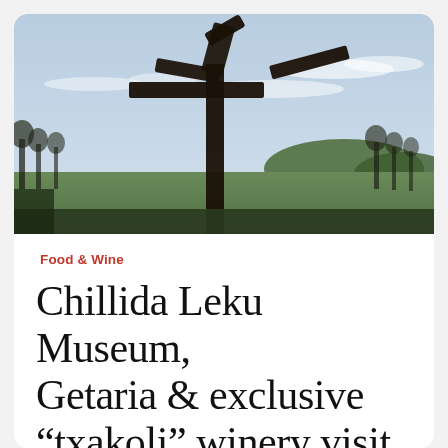[Figure (photo): Dark silhouette of a large abstract metal sculpture (resembling a cross/post form with angular arms) against a pale blue sky with wispy clouds. Green rolling hills and bare autumn trees visible in the background.]
Food & Wine
Chillida Leku Museum, Getaria & exclusive “txakoli” winery visit &